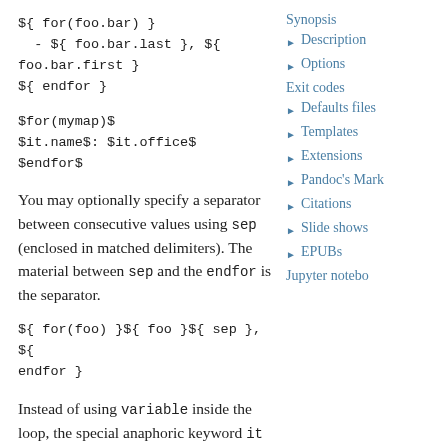${ for(foo.bar) }
  - ${ foo.bar.last }, ${ foo.bar.first }
${ endfor }
$for(mymap)$
$it.name$: $it.office$
$endfor$
You may optionally specify a separator between consecutive values using sep (enclosed in matched delimiters). The material between sep and the endfor is the separator.
${ for(foo) }${ foo }${ sep }, ${ endfor }
Instead of using variable inside the loop, the special anaphoric keyword it may be
Synopsis
Description
Options
Exit codes
Defaults files
Templates
Extensions
Pandoc's Mark
Citations
Slide shows
EPUBs
Jupyter notebo